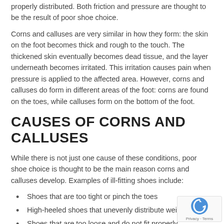properly distributed. Both friction and pressure are thought to be the result of poor shoe choice.
Corns and calluses are very similar in how they form: the skin on the foot becomes thick and rough to the touch. The thickened skin eventually becomes dead tissue, and the layer underneath becomes irritated. This irritation causes pain when pressure is applied to the affected area. However, corns and calluses do form in different areas of the foot: corns are found on the toes, while calluses form on the bottom of the foot.
CAUSES OF CORNS AND CALLUSES
While there is not just one cause of these conditions, poor shoe choice is thought to be the main reason corns and calluses develop. Examples of ill-fitting shoes include:
Shoes that are too tight or pinch the toes
High-heeled shoes that unevenly distribute weight
Shoes that are too loose and do not fit properly
Shoes that do not provide proper arch support